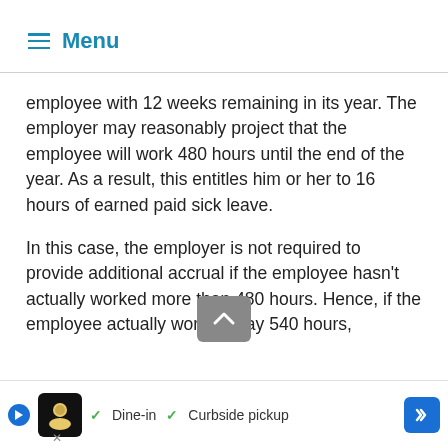≡ Menu
employee with 12 weeks remaining in its year. The employer may reasonably project that the employee will work 480 hours until the end of the year. As a result, this entitles him or her to 16 hours of earned paid sick leave.
In this case, the employer is not required to provide additional accrual if the employee hasn't actually worked more than 480 hours. Hence, if the employee actually worked, say 540 hours, the employee...